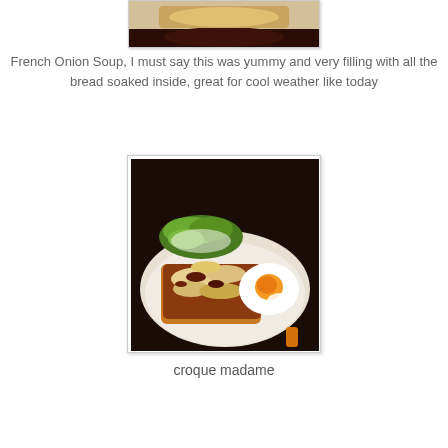[Figure (photo): Top portion of a French Onion Soup photo, showing bread soaked in broth on a dark plate/bowl]
French Onion Soup, I must say this was yummy and very filling with all the bread soaked inside, great for cool weather like today
[Figure (photo): Croque madame dish on a white plate: toasted sandwich topped with melted browned cheese, a fried egg with orange yolk, and a green salad garnish]
croque madame